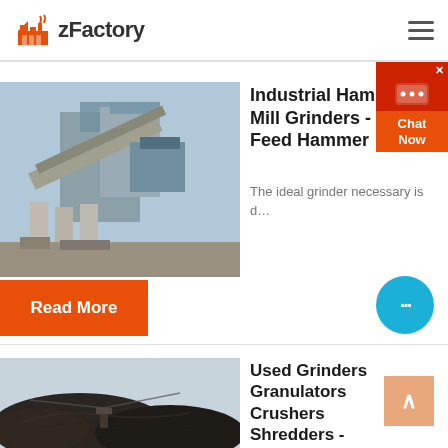zFactory
[Figure (photo): Industrial construction site with large industrial hammer mill grinder equipment, conveyor belts, and machinery against a sky backdrop]
Industrial Hammer Mill Grinders - Animal Feed Hammer
The ideal grinder necessary is d…
Read More
[Figure (screenshot): Chat Now popup widget with red background, chat bubble icon, and Chat Now label]
[Figure (photo): Aerial view of large dark material piles, possibly coal or aggregates, with industrial equipment]
Used Grinders Granulators Crushers Shredders -